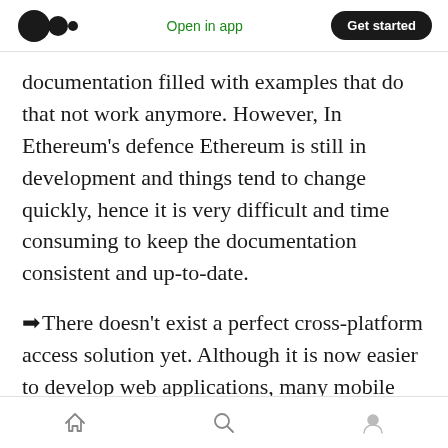Medium app header — Open in app | Get started
documentation filled with examples that do that not work anymore. However, In Ethereum's defence Ethereum is still in development and things tend to change quickly, hence it is very difficult and time consuming to keep the documentation consistent and up-to-date.
➡There doesn't exist a perfect cross-platform access solution yet. Although it is now easier to develop web applications, many mobile applications don't have multi-terminal access function resulting from imperfect Software
Bottom navigation: Home | Search | Profile